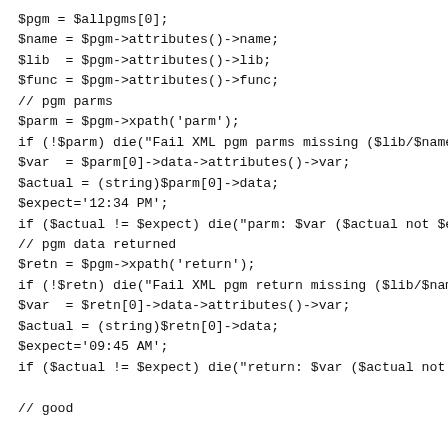$pgm = $allpgms[0];
$name = $pgm->attributes()->name;
$lib  = $pgm->attributes()->lib;
$func = $pgm->attributes()->func;
// pgm parms
$parm = $pgm->xpath('parm');
if (!$parm) die("Fail XML pgm parms missing ($lib/$name.S
$var  = $parm[0]->data->attributes()->var;
$actual = (string)$parm[0]->data;
$expect='12:34 PM';
if ($actual != $expect) die("parm: $var ($actual not $exp
// pgm data returned
$retn = $pgm->xpath('return');
if (!$retn) die("Fail XML pgm return missing ($lib/$name
$var  = $retn[0]->data->attributes()->var;
$actual = (string)$retn[0]->data;
$expect='09:45 AM';
if ($actual != $expect) die("return: $var ($actual not $e

// good